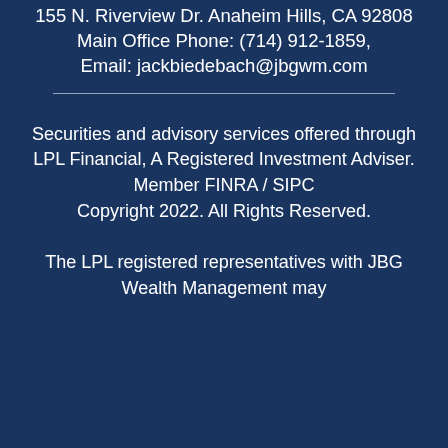155 N. Riverview Dr. Anaheim Hills, CA 92808
Main Office Phone: (714) 912-1859,
Email: jackbiedebach@jbgwm.com
Securities and advisory services offered through LPL Financial, A Registered Investment Adviser. Member FINRA / SIPC
Copyright 2022. All Rights Reserved.
The LPL registered representatives with JBG Wealth Management may